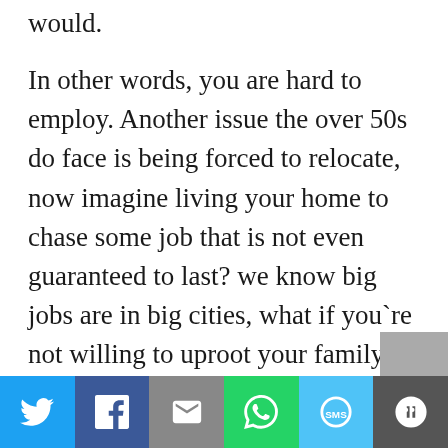would.
In other words, you are hard to employ. Another issue the over 50s do face is being forced to relocate, now imagine living your home to chase some job that is not even guaranteed to last? we know big jobs are in big cities, what if you`re not willing to uproot your family?
It's sad when you look at the wasted talent and experience casting these people aside would create. Knowledge and experience an
Twitter | Facebook | Email | WhatsApp | SMS | More